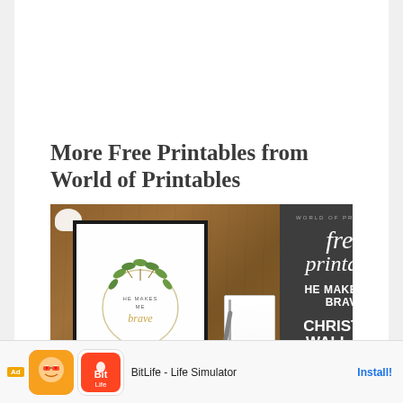More Free Printables from World of Printables
[Figure (photo): Two-part image: left side shows a framed 'He Makes Me Brave' botanical print on a wooden surface with flowers and a notebook; right side is a dark gray promotional graphic reading 'WORLD OF PRINTABLES / free printable / HE MAKES ME BRAVE / CHRISTIAN WALL ART']
[Figure (infographic): Mobile advertisement bar at the bottom showing 'Ad' label, BitLife - Life Simulator app icon, app name text, and Install! button]